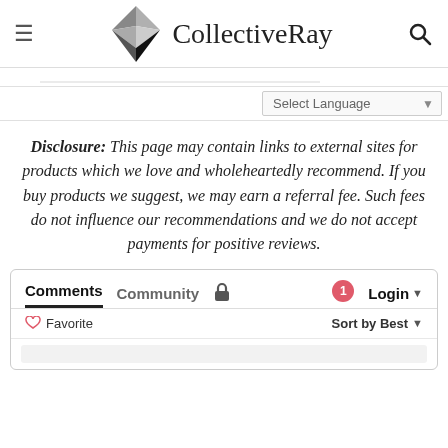CollectiveRay
Disclosure: This page may contain links to external sites for products which we love and wholeheartedly recommend. If you buy products we suggest, we may earn a referral fee. Such fees do not influence our recommendations and we do not accept payments for positive reviews.
Comments  Community  Login  Favorite  Sort by Best